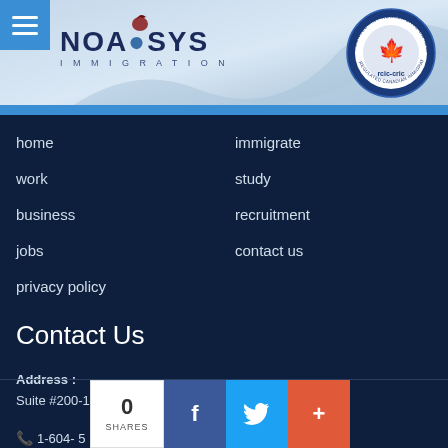[Figure (logo): NOASYS IMMIGRATION logo with hamburger menu button and RCIC-CRIC certification badge on blue gradient banner]
home
immigrate
work
study
business
recruitment
jobs
contact us
privacy policy
Contact Us
Address :
Suite #200-11957- 80 Ave Delta, BC, Canada
1-604- 5...3